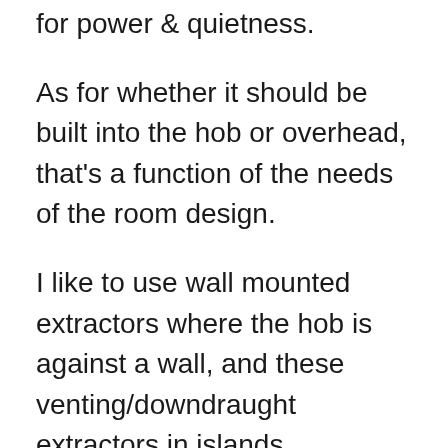for power & quietness.
As for whether it should be built into the hob or overhead, that's a function of the needs of the room design.
I like to use wall mounted extractors where the hob is against a wall, and these venting/downdraught extractors in islands.
I'll design in ceiling mount extractors where a) the ceiling is suitable and b) future access to change filters is acceptable [I worry over details like how will customers remove the filters for cleaning if they're too high]. Of